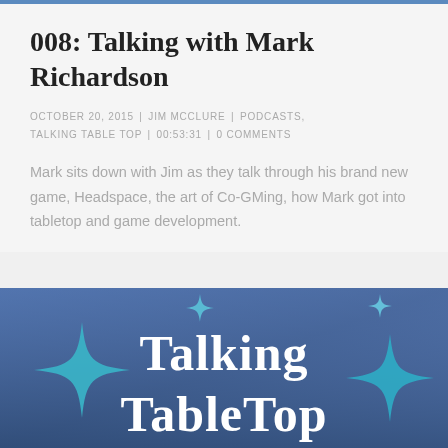008: Talking with Mark Richardson
OCTOBER 20, 2015 | JIM MCCLURE | PODCASTS, TALKING TABLE TOP | 00:53:31 | 0 COMMENTS
Mark sits down with Jim as they talk through his brand new game, Headspace, the art of Co-GMing, how Mark got into tabletop and game development.
[Figure (logo): Talking TableTop podcast logo — blue/purple gradient background with white text 'Talking TableTop' and decorative teal star/sparkle shapes]